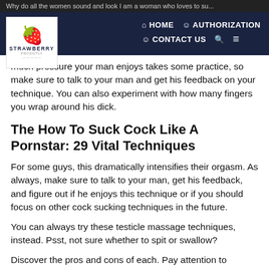Why do all the women sound and look I am a woman who loves to su...
[Figure (logo): Strawberry logo with strawberry icon and text]
much pressure your man enjoys takes some practice, so make sure to talk to your man and get his feedback on your technique. You can also experiment with how many fingers you wrap around his dick.
The How To Suck Cock Like A Pornstar: 29 Vital Techniques
For some guys, this dramatically intensifies their orgasm. As always, make sure to talk to your man, get his feedback, and figure out if he enjoys this technique or if you should focus on other cock sucking techniques in the future.
You can always try these testicle massage techniques, instead. Psst, not sure whether to spit or swallow?
Discover the pros and cons of each. Pay attention to